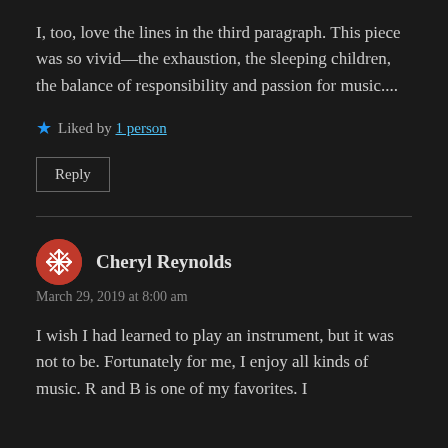I, too, love the lines in the third paragraph. This piece was so vivid—the exhaustion, the sleeping children, the balance of responsibility and passion for music....
Liked by 1 person
Reply
Cheryl Reynolds
March 29, 2019 at 8:00 am
I wish I had learned to play an instrument, but it was not to be. Fortunately for me, I enjoy all kinds of music. R and B is one of my favorites. I